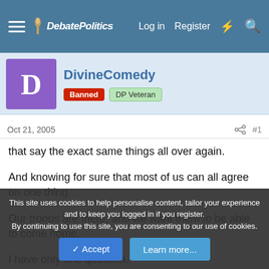DebatePolitics — Log in  Register
DivineComedy
Banned  DP Veteran
Oct 21, 2005  #1
that say the exact same things all over again.

And knowing for sure that most of us can all agree on one thing.

Our troops are there, and we want them to be able to come home.

I have only one question.

Where are the human shields that showed up for Saddam and
This site uses cookies to help personalise content, tailor your experience and to keep you logged in if you register.
By continuing to use this site, you are consenting to our use of cookies.